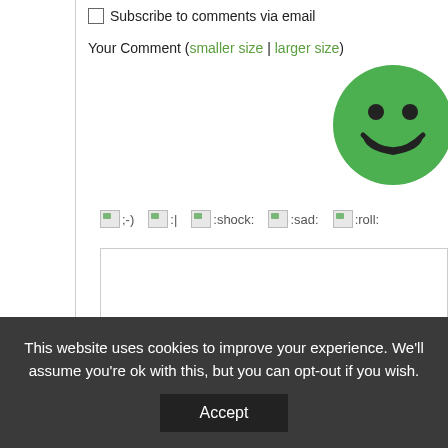Subscribe to comments via email
Your Comment (smaller size | larger size)
[Figure (illustration): Green smiley face emoji in top right corner]
[Figure (illustration): Row of broken image placeholders showing emoji codes: ;-) :| :shock: :sad: :roll:]
[Figure (screenshot): Large white text area input box for comment]
This website uses cookies to improve your experience. We'll assume you're ok with this, but you can opt-out if you wish. Accept